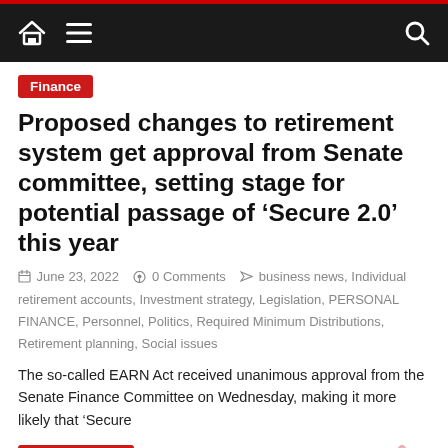Navigation bar with home icon, menu icon, and search icon
Finance
Proposed changes to retirement system get approval from Senate committee, setting stage for potential passage of ‘Secure 2.0’ this year
June 23, 2022   0 Comments   business news, Individual retirement accounts, Investment strategy, Legislation, PERSONAL FINANCE, Personnel, Politics, Required Minimum Distributions, Retirement planning, Social issues
The so-called EARN Act received unanimous approval from the Senate Finance Committee on Wednesday, making it more likely that ‘Secure